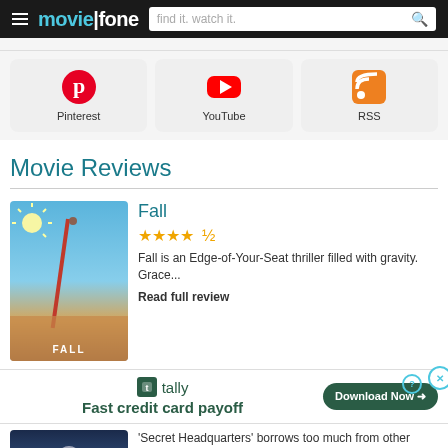moviefone — find it. watch it.
[Figure (logo): Pinterest icon and label]
[Figure (logo): YouTube icon and label]
[Figure (logo): RSS icon and label]
Movie Reviews
[Figure (photo): Movie poster for Fall showing a sun and person on a tall rod against desert sky]
Fall
★★★★½
Fall is an Edge-of-Your-Seat thriller filled with gravity. Grace...
Read full review
[Figure (infographic): Tally ad: Fast credit card payoff. Download Now button.]
[Figure (photo): Movie poster for Secret Headquarters]
'Secret Headquarters' borrows too much from other superhero